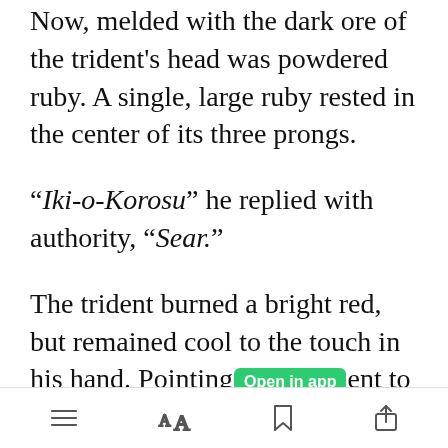Now, melded with the dark ore of the trident's head was powdered ruby. A single, large ruby rested in the center of its three prongs.
“Iki-o-Korosu” he replied with authority, “Sear.”
The trident burned a bright red, but remained cool to the touch in his hand. Pointing [Open in app] ent to the far
[menu icon] [AA icon] [bookmark icon] [share icon]